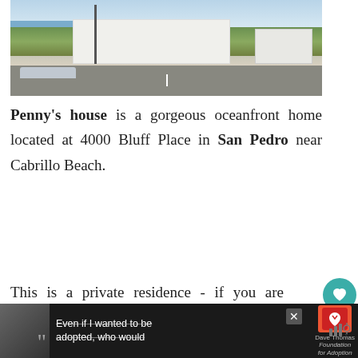[Figure (photo): Exterior photo of a white single-story oceanfront house at 4000 Bluff Place, San Pedro. Street view showing the house with green shrubs, a street pole, a silver car parked on the left, a garage on the right, and ocean/sky visible in the background.]
Penny's house is a gorgeous oceanfront home located at 4000 Bluff Place in San Pedro near Cabrillo Beach.
This is a private residence - if you are visiting, please be considerate of the owners' property.
[Figure (screenshot): Bottom advertisement bar with dark background showing a woman's photo, quotation marks, strikethrough text 'Even if I wanted to be adopted, who would', Dave Thomas Foundation for Adoption logo, close button, and weather icon.]